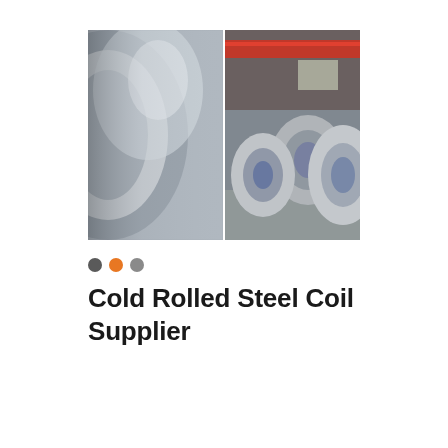[Figure (photo): Two photos side by side of cold rolled steel coils: left image shows a close-up of a shiny metallic steel coil; right image shows two large steel coils stored in an industrial warehouse with a red overhead crane in background.]
Cold Rolled Steel Coil Supplier